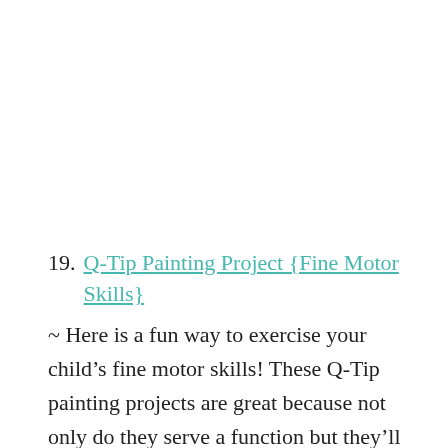19.  Q-Tip Painting Project {Fine Motor Skills} ~ Here is a fun way to exercise your child’s fine motor skills! These Q-Tip painting projects are great because not only do they serve a function but they’ll also look great hanging on the fridge and to keep as memorabilia!